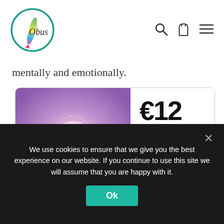[Figure (logo): Obus logo: a circle with a colorful pen/brush graphic and the text 'Obus' in italic serif]
[Figure (other): Navigation icons: search magnifying glass, shopping bag, hamburger menu]
mentally and emotionally.
[Figure (photo): Two human hands raised palm-forward with fingers touching at top, against a purple/pink swirling energy background]
€125.00
Vouchers
View Dates
We use cookies to ensure that we give you the best experience on our website. If you continue to use this site we will assume that you are happy with it.